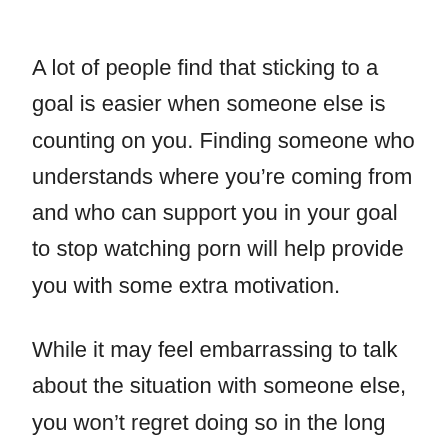A lot of people find that sticking to a goal is easier when someone else is counting on you. Finding someone who understands where you’re coming from and who can support you in your goal to stop watching porn will help provide you with some extra motivation.
While it may feel embarrassing to talk about the situation with someone else, you won’t regret doing so in the long run. Even if this person isn’t able to help you